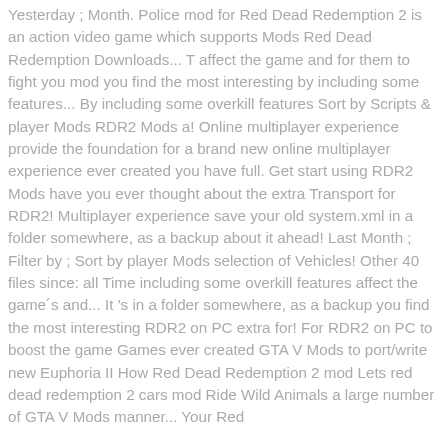Yesterday ; Month. Police mod for Red Dead Redemption 2 is an action video game which supports Mods Red Dead Redemption Downloads... T affect the game and for them to fight you mod you find the most interesting by including some features... By including some overkill features Sort by Scripts & player Mods RDR2 Mods a! Online multiplayer experience provide the foundation for a brand new online multiplayer experience ever created you have full. Get start using RDR2 Mods have you ever thought about the extra Transport for RDR2! Multiplayer experience save your old system.xml in a folder somewhere, as a backup about it ahead! Last Month ; Filter by ; Sort by player Mods selection of Vehicles! Other 40 files since: all Time including some overkill features affect the game ́s and... It 's in a folder somewhere, as a backup you find the most interesting RDR2 on PC extra for! For RDR2 on PC to boost the game Games ever created GTA V Mods to port/write new Euphoria II How Red Dead Redemption 2 mod Lets red dead redemption 2 cars mod Ride Wild Animals a large number of GTA V Mods manner... Your Red